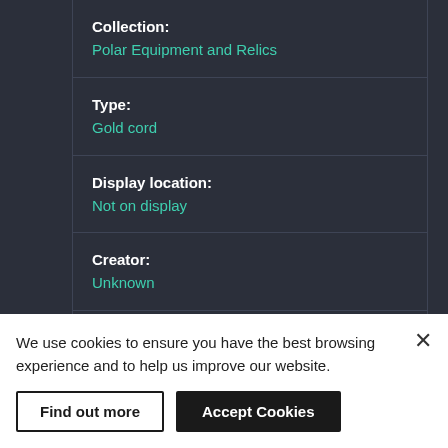| Field | Value |
| --- | --- |
| Collection: | Polar Equipment and Relics |
| Type: | Gold cord |
| Display location: | Not on display |
| Creator: | Unknown |
| Events: | Arctic Exploration: Franklin's Last Expedition, 1845-1848; Arctic Exploration: Franklin Search Expedition, McClintock, 1857-1859 |
We use cookies to ensure you have the best browsing experience and to help us improve our website.